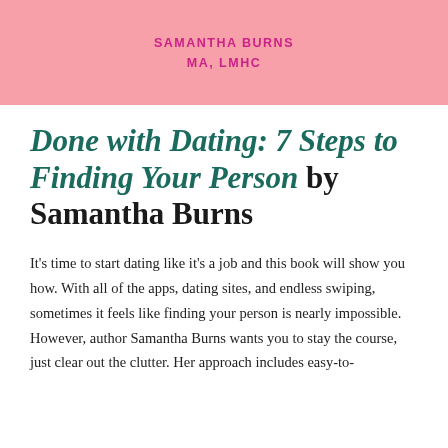SAMANTHA BURNS
MA, LMHC
Done with Dating: 7 Steps to Finding Your Person by Samantha Burns
It's time to start dating like it's a job and this book will show you how. With all of the apps, dating sites, and endless swiping, sometimes it feels like finding your person is nearly impossible. However, author Samantha Burns wants you to stay the course, just clear out the clutter. Her approach includes easy-to-